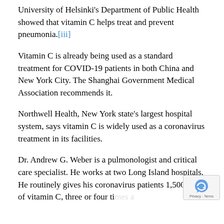University of Helsinki's Department of Public Health showed that vitamin C helps treat and prevent pneumonia.[iii]
Vitamin C is already being used as a standard treatment for COVID-19 patients in both China and New York City. The Shanghai Government Medical Association recommends it.
Northwell Health, New York state's largest hospital system, says vitamin C is widely used as a coronavirus treatment in its facilities.
Dr. Andrew G. Weber is a pulmonologist and critical care specialist. He works at two Long Island hospitals. He routinely gives his coronavirus patients 1,500 mg of vitamin C, three or four times a